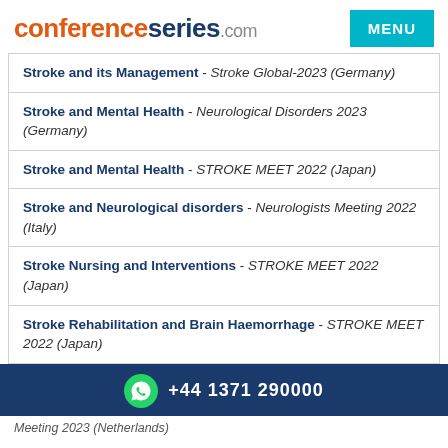conferenceseries.com | MENU
Stroke and its Management - Stroke Global-2023 (Germany)
Stroke and Mental Health - Neurological Disorders 2023 (Germany)
Stroke and Mental Health - STROKE MEET 2022 (Japan)
Stroke and Neurological disorders - Neurologists Meeting 2022 (Italy)
Stroke Nursing and Interventions - STROKE MEET 2022 (Japan)
Stroke Rehabilitation and Brain Haemorrhage - STROKE MEET 2022 (Japan)
+44 1371 290000
Meeting 2023 (Netherlands)